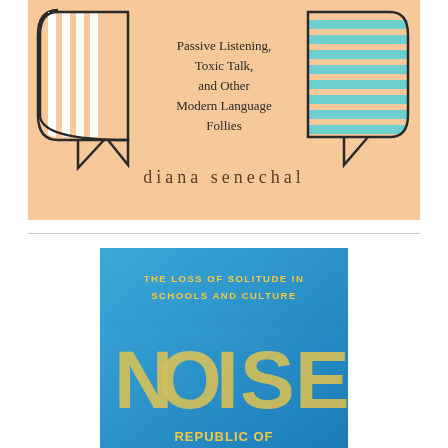[Figure (illustration): Book cover with peach/salmon background showing two speech bubble outlines on left and right sides. Left bubble has white vertical stripes, right bubble has teal/cyan horizontal stripes. Center text reads 'Passive Listening, Toxic Talk, and Other Modern Language Follies' with author name 'diana senechal' below in dark brown spaced letters.]
[Figure (illustration): Book cover with blue gradient background. Yellow text reads 'THE LOSS OF SOLITUDE IN SCHOOLS AND CULTURE' at top. Large yellow halftone dotted letters spelling 'NOISE' dominate bottom, with partial text 'REPUBLIC OF' visible below.]